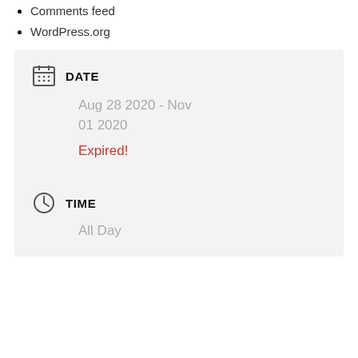Comments feed
WordPress.org
DATE
Aug 28 2020 - Nov 01 2020
Expired!
TIME
All Day